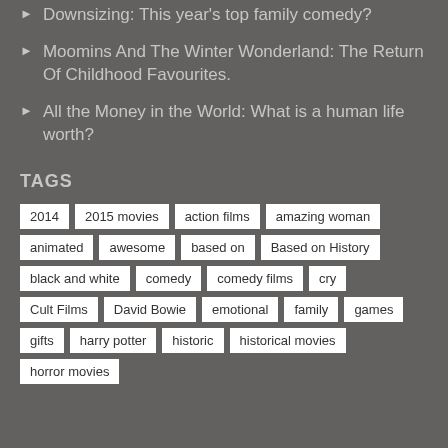Downsizing: This year's top family comedy?
Moomins And The Winter Wonderland: The Return Of Childhood Favourites.
All the Money in the World: What is a human life worth?
TAGS
2014  2015 movies  action films  amazing woman  animated  awesome  based on  Based on History  black and white  comedy  comedy films  cry  Cult Films  David Bowie  emotional  family  games  gifts  harry potter  historic  historical movies  horror movies